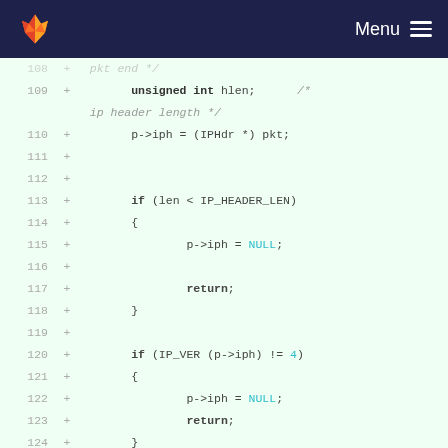GitLab — Menu
[Figure (screenshot): Code diff view showing C source lines 108-126 with added lines (+) highlighted in light green. Lines include: unsigned int hlen (ip header length comment), p->iph = (IPHdr *) pkt, if (len < IP_HEADER_LEN) block with p->iph = NULL and return, if (IP_VER (p->iph) != 4) block with p->iph = NULL and return, and ip_len = ntohs (p->iph-]
108 + pkt end */
109 + unsigned int hlen; /* ip header length */
110 + p->iph = (IPHdr *) pkt;
111 +
112 +
113 + if (len < IP_HEADER_LEN)
114 + {
115 + p->iph = NULL;
116 +
117 + return;
118 + }
119 +
120 + if (IP_VER (p->iph) != 4)
121 + {
122 + p->iph = NULL;
123 + return;
124 + }
125 +
126 + ip_len = ntohs (p->iph-